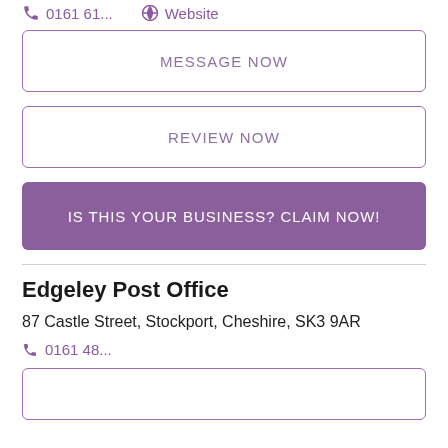0161 61...   Website
MESSAGE NOW
REVIEW NOW
IS THIS YOUR BUSINESS? CLAIM NOW!
Edgeley Post Office
87 Castle Street, Stockport, Cheshire, SK3 9AR
0161 48...